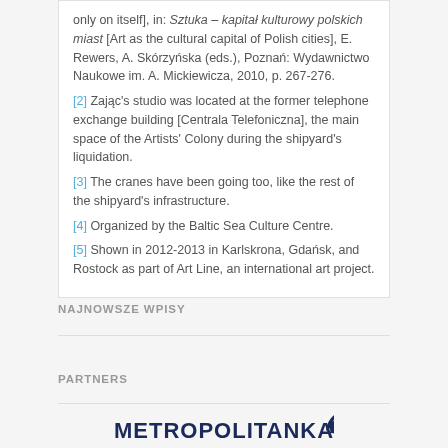only on itself], in: Sztuka – kapitał kulturowy polskich miast [Art as the cultural capital of Polish cities], E. Rewers, A. Skórzyńska (eds.), Poznań: Wydawnictwo Naukowe im. A. Mickiewicza, 2010, p. 267-276.
[2] Zając's studio was located at the former telephone exchange building [Centrala Telefoniczna], the main space of the Artists' Colony during the shipyard's liquidation.
[3] The cranes have been going too, like the rest of the shipyard's infrastructure.
[4] Organized by the Baltic Sea Culture Centre.
[5] Shown in 2012-2013 in Karlskrona, Gdańsk, and Rostock as part of Art Line, an international art project.
NAJNOWSZE WPISY
PARTNERS
[Figure (logo): Metropolitanka logo — bold uppercase text with a bird/figure icon]